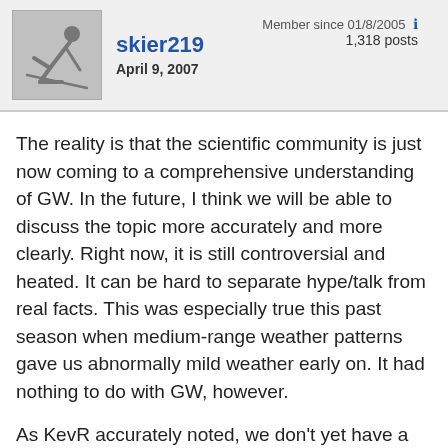skier219 | Member since 01/8/2005 | April 9, 2007 | 1,318 posts
The reality is that the scientific community is just now coming to a comprehensive understanding of GW. In the future, I think we will be able to discuss the topic more accurately and more clearly. Right now, it is still controversial and heated. It can be hard to separate hype/talk from real facts. This was especially true this past season when medium-range weather patterns gave us abnormally mild weather early on. It had nothing to do with GW, however.
As KevR accurately noted, we don't yet have a handle on what GW could mean for mid-A ski areas. A true GW event will mean that some areas of the world will actually get cooler, due to